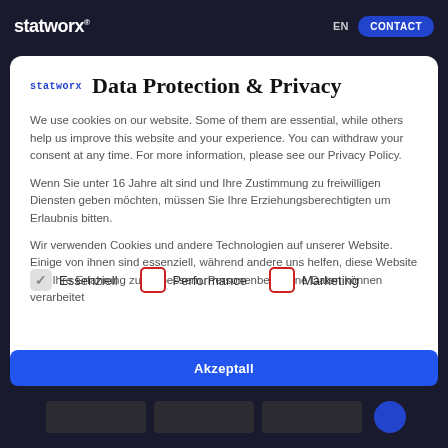statworx | EN | CONTACT
statworx Data Protection & Privacy
We use cookies on our website. Some of them are essential, while others help us improve this website and your experience. You can withdraw your consent at any time. For more information, please see our Privacy Policy.
Wenn Sie unter 16 Jahre alt sind und Ihre Zustimmung zu freiwilligen Diensten geben möchten, müssen Sie Ihre Erziehungsberechtigten um Erlaubnis bitten.
Wir verwenden Cookies und andere Technologien auf unserer Website. Einige von ihnen sind essenziell, während andere uns helfen, diese Website und Ihre Erfahrung zu verbessern. Personenbezogene Daten können verarbeitet
Essenziell
Performance
Marketing